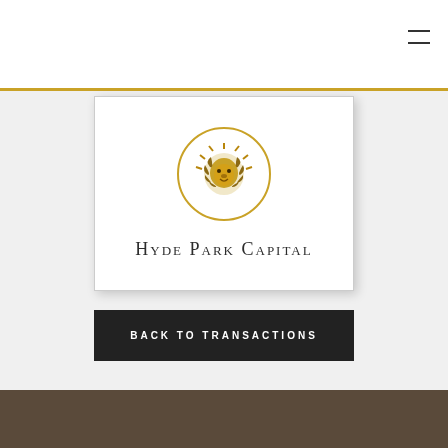[Figure (logo): Hyde Park Capital logo: golden lion head in a circle above the text 'Hyde Park Capital' in small caps serif font]
BACK TO TRANSACTIONS
[Figure (photo): Dark background photo at bottom of page showing a conference room or office interior]